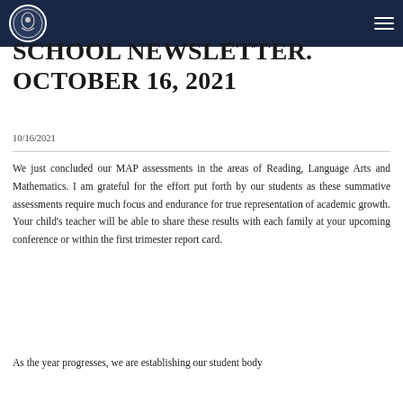School Newsletter
SCHOOL NEWSLETTER. OCTOBER 16, 2021
10/16/2021
We just concluded our MAP assessments in the areas of Reading, Language Arts and Mathematics. I am grateful for the effort put forth by our students as these summative assessments require much focus and endurance for true representation of academic growth. Your child’s teacher will be able to share these results with each family at your upcoming conference or within the first trimester report card.
As the year progresses, we are establishing our student body